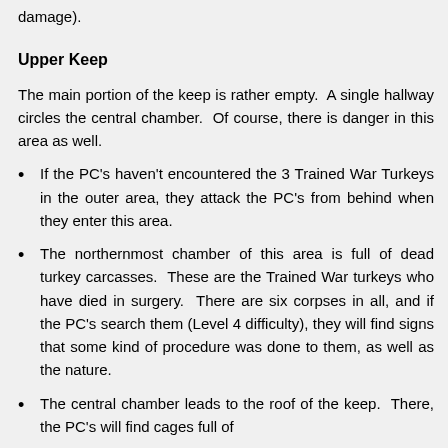damage).
Upper Keep
The main portion of the keep is rather empty. A single hallway circles the central chamber. Of course, there is danger in this area as well.
If the PC's haven't encountered the 3 Trained War Turkeys in the outer area, they attack the PC's from behind when they enter this area.
The northernmost chamber of this area is full of dead turkey carcasses. These are the Trained War turkeys who have died in surgery. There are six corpses in all, and if the PC's search them (Level 4 difficulty), they will find signs that some kind of procedure was done to them, as well as the nature.
The central chamber leads to the roof of the keep. There, the PC's will find cages full of